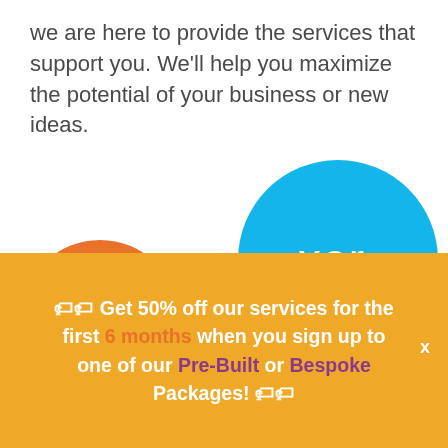we are here to provide the services that support you. We'll help you maximize the potential of your business or new ideas.
[Figure (illustration): Two overlapping circles: an orange circle on the lower left and a larger teal/blue circle on the right containing the Xero logo in white text.]
🏷🏷 Get 50% off our services for the first 6 months when you sign up to one of our Pre-Built or Bespoke Packages! 🏷🏷